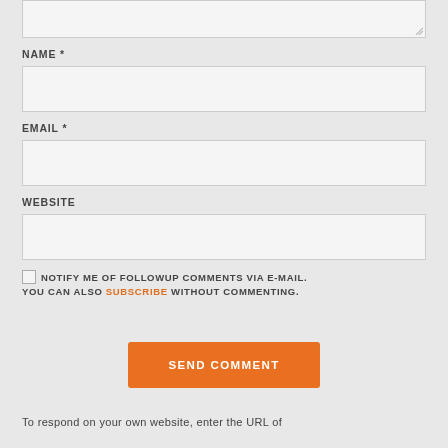[Figure (screenshot): Top portion of a comment form textarea input box with resize handle]
NAME *
[Figure (screenshot): Name text input field]
EMAIL *
[Figure (screenshot): Email text input field]
WEBSITE
[Figure (screenshot): Website text input field]
NOTIFY ME OF FOLLOWUP COMMENTS VIA E-MAIL. YOU CAN ALSO SUBSCRIBE WITHOUT COMMENTING.
SEND COMMENT
To respond on your own website, enter the URL of